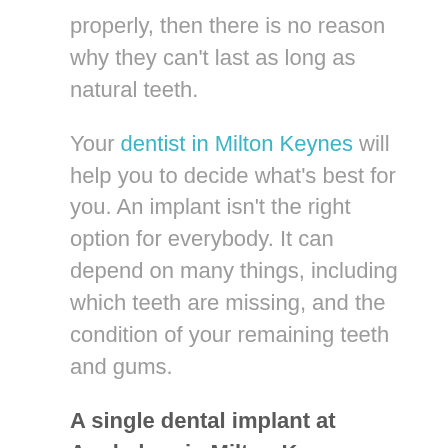properly, then there is no reason why they can't last as long as natural teeth.
Your dentist in Milton Keynes will help you to decide what's best for you. An implant isn't the right option for everybody. It can depend on many things, including which teeth are missing, and the condition of your remaining teeth and gums.
A single dental implant at Appledore in Milton Keynes costs £2500. Please read more details below about further costs that may be involved.